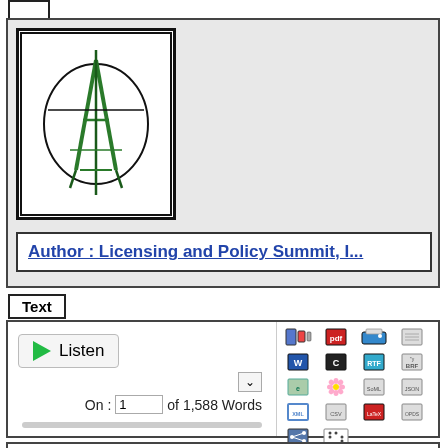[Figure (logo): Logo with geometric compass/drafting tool design in green on white background, with nested rectangular and circular borders]
Author : Licensing and Policy Summit, I...
Text
[Figure (screenshot): Media player interface with Listen button, word counter showing 1 of 1,588 Words, and file format icons (pdf, print, W, C, RTF, BRF, epub, flower, SoML, JSON, XML, CSV, LaTeX, OPDS, share, BRF)]